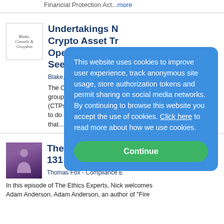Financial Protection Act...more
Undertakings No Crypto Asset Tr Operating in Ca Seeking Regist
Blake, Cassels & Graydon L
The Canadian Securities Ad group has announced that cr (CTPs) that operate in Cana to do so must sign a preregi that...more
The Ethics Expe 131 - Adam And
Thomas Fox - Compliance E
In this episode of The Ethics Experts, Nick welcomes Adam Anderson. Adam Anderson, an author of "Fire
This website uses cookies to improve user experience, track anonymous site usage, store authorization tokens and permit sharing on social media networks. By continuing to browse this website you accept the use of cookies. Click here to read more about how we use cookies.
Continue